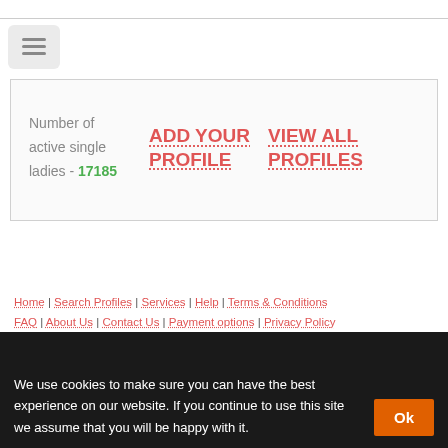[Figure (other): Hamburger menu button icon (three horizontal lines) on a light gray rounded rectangle background]
Number of active single ladies - 17185
ADD YOUR PROFILE
VIEW ALL PROFILES
Home | Search Profiles | Services | Help | Terms & Conditions | FAQ | About Us | Contact Us | Payment options | Privacy Policy
We use cookies to make sure you can have the best experience on our website. If you continue to use this site we assume that you will be happy with it.